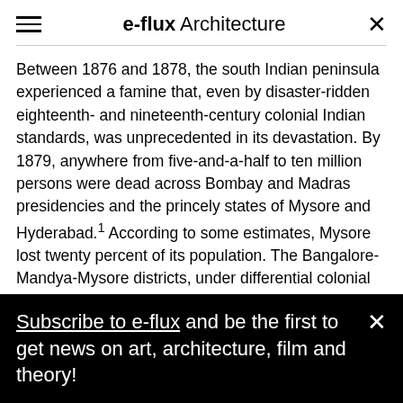e-flux Architecture
Between 1876 and 1878, the south Indian peninsula experienced a famine that, even by disaster-ridden eighteenth- and nineteenth-century colonial Indian standards, was unprecedented in its devastation. By 1879, anywhere from five-and-a-half to ten million persons were dead across Bombay and Madras presidencies and the princely states of Mysore and Hyderabad.¹ According to some estimates, Mysore lost twenty percent of its population. The Bangalore-Mandya-Mysore districts, under differential colonial and princely state administrations, were hit particularly hard. Situated in a dry agrarian zone,
Subscribe to e-flux and be the first to get news on art, architecture, film and theory!